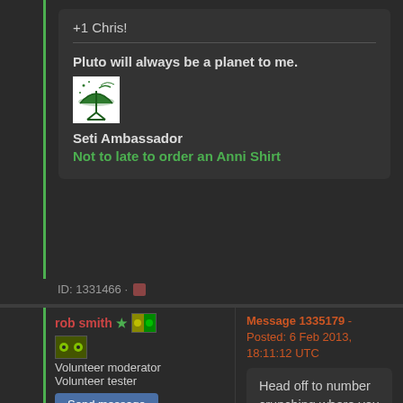+1 Chris!
Pluto will always be a planet to me.
[Figure (illustration): SETI radio telescope dish icon in green and white]
Seti Ambassador
Not to late to order an Anni Shirt
ID: 1331466 ·
rob smith
Volunteer moderator
Volunteer tester
Send message
Joined: 7 Mar 03
Posts: 20966
Credit: 416,307,556
Message 1335179 - Posted: 6 Feb 2013, 18:11:12 UTC
Head off to number crunching where you will find a thread about the current server behaviour.
Bob Smith